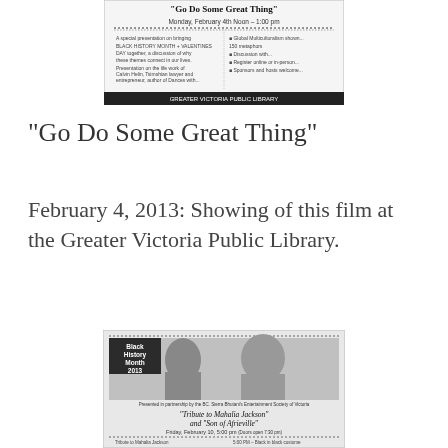[Figure (other): Scanned flyer image for 'Go Do Some Great Thing' event, Monday February 4th, Noon-1:00pm, at a library]
"Go Do Some Great Thing"
February 4, 2013: Showing of this film at the Greater Victoria Public Library.
[Figure (other): Scanned flyer image for Black History Month 2013 event: 'Tribute to Mahalia Jackson' and 'Son of Africville', Friday February 10, 5:00 pm]